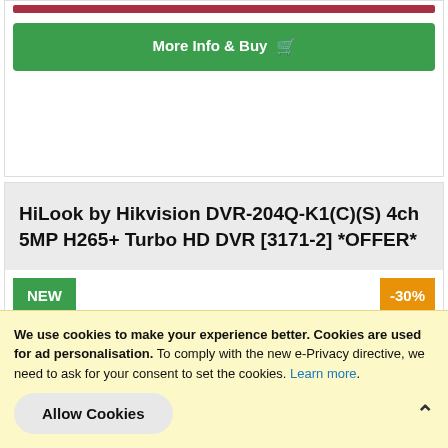[Figure (other): Red bar at top of product card]
More Info & Buy
HiLook by Hikvision DVR-204Q-K1(C)(S) 4ch 5MP H265+ Turbo HD DVR [3171-2] *OFFER*
NEW
-30%
We use cookies to make your experience better. Cookies are used for ad personalisation. To comply with the new e-Privacy directive, we need to ask for your consent to set the cookies. Learn more.
Allow Cookies